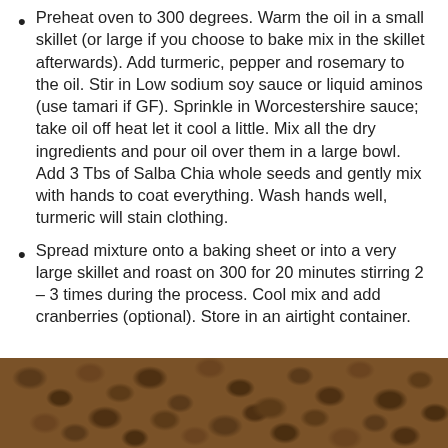Preheat oven to 300 degrees. Warm the oil in a small skillet (or large if you choose to bake mix in the skillet afterwards). Add turmeric, pepper and rosemary to the oil. Stir in Low sodium soy sauce or liquid aminos (use tamari if GF). Sprinkle in Worcestershire sauce; take oil off heat let it cool a little. Mix all the dry ingredients and pour oil over them in a large bowl. Add 3 Tbs of Salba Chia whole seeds and gently mix with hands to coat everything. Wash hands well, turmeric will stain clothing.
Spread mixture onto a baking sheet or into a very large skillet and roast on 300 for 20 minutes stirring 2 – 3 times during the process. Cool mix and add cranberries (optional). Store in an airtight container.
[Figure (photo): Close-up photo of dark brown chia seeds covering the entire lower portion of the page]